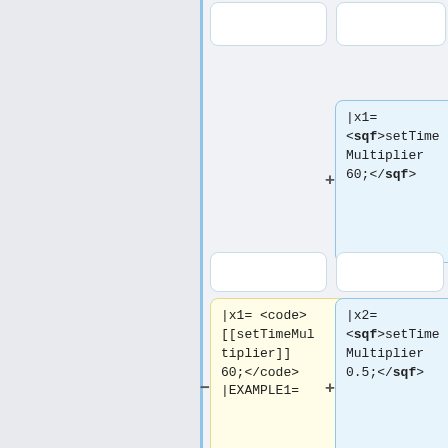[Figure (other): Diff view showing wiki template changes. Left column is gray sidebar. Vertical blue divider. Top row: two empty white boxes. Second row: blue box with '|x1= <sqf>setTimeMultiplier 60;</sqf>' and a + marker. Third row: two empty white boxes. Fourth row: yellow box (removed) '|x1= <code>[[setTimeMultiplier]] 60;</code> |EXAMPLE1=' with minus marker, and blue box (added) '|x2= <sqf>setTimeMultiplier 0.5;</sqf>' with plus marker. Fifth row: yellow box (removed) '|x2= <code>[[setTimeMultiplier]] 0.5;</code> |EXAMPLE2=' with minus marker. Bottom row: two empty white boxes.]